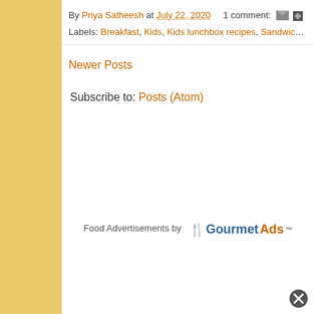By Priya Satheesh at July 22, 2020   1 comment:
Labels: Breakfast, Kids, Kids lunchbox recipes, Sandwic…
Newer Posts
Subscribe to: Posts (Atom)
Food Advertisements by GourmetAds™